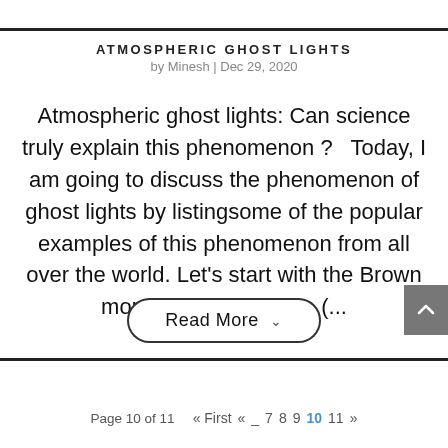Atmospheric Ghost Lights
by Minesh | Dec 29, 2020
Atmospheric ghost lights: Can science truly explain this phenomenon ?   Today, I am going to discuss the phenomenon of ghost lights by listingsome of the popular examples of this phenomenon from all over the world. Let's start with the Brown mountain ghost lights. (...
Read More  ∨
Page 10 of 11  « First  «  _  7  8  9  10  11  »